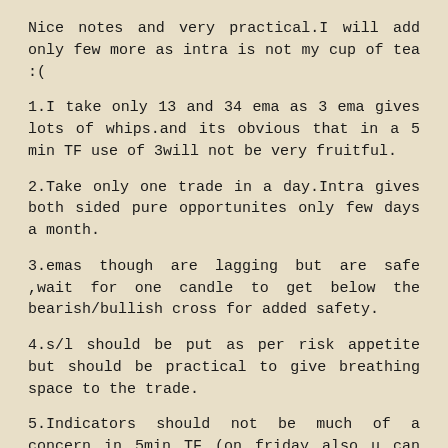Nice notes and very practical.I will add only few more as intra is not my cup of tea :(
1.I take only 13 and 34 ema as 3 ema gives lots of whips.and its obvious that in a 5 min TF use of 3will not be very fruitful.
2.Take only one trade in a day.Intra gives both sided pure opportunites only few days a month.
3.emas though are lagging but are safe ,wait for one candle to get below the bearish/bullish cross for added safety.
4.s/l should be put as per risk appetite but should be practical to give breathing space to the trade.
5.Indicators should not be much of a concern in 5min TF (on friday also u can see that trade on short side developed in oversold region of stochs.)
6.Profit booking should be done on the next target